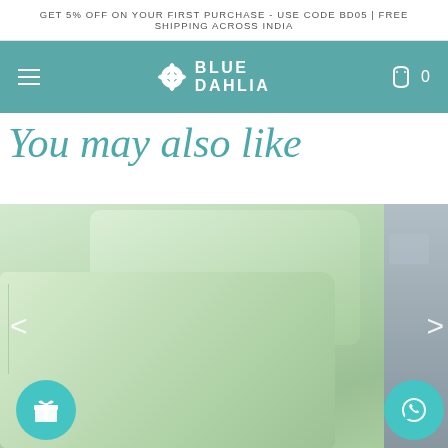GET 5% OFF ON YOUR FIRST PURCHASE - USE CODE BD05 | FREE SHIPPING ACROSS INDIA
[Figure (screenshot): Blue Dahlia e-commerce website navigation bar with teal background, hamburger menu on left, Blue Dahlia logo in center, cart icon with 0 on right]
You may also like
[Figure (photo): Light sage/mint green pillow covers/pillowcases displayed on a bed, showing two pillows. A partial view of a second product (grey bedding) is visible on the right edge. Navigation arrows on left and right. Gift icon button on bottom left, WhatsApp icon button on bottom right.]